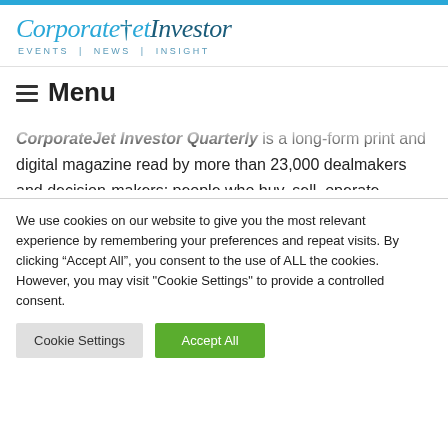CorporateJetInvestor EVENTS | NEWS | INSIGHT
≡ Menu
CorporateJet Investor Quarterly is a long-form print and digital magazine read by more than 23,000 dealmakers and decision-makers; people who buy, sell, operate, maintain, finance and advise on aircraft sales.
We use cookies on our website to give you the most relevant experience by remembering your preferences and repeat visits. By clicking "Accept All", you consent to the use of ALL the cookies. However, you may visit "Cookie Settings" to provide a controlled consent.